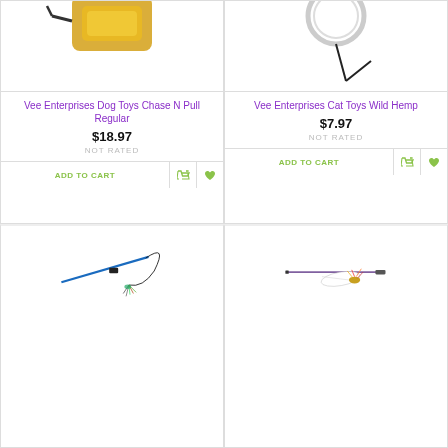[Figure (photo): Partial top view of dog toy (Chase N Pull Regular) - yellow/gold item at top]
Vee Enterprises Dog Toys Chase N Pull Regular
$18.97
NOT RATED
ADD TO CART
[Figure (photo): Partial top view of cat toy (Wild Hemp) - ring with string visible at top]
Vee Enterprises Cat Toys Wild Hemp
$7.97
NOT RATED
ADD TO CART
[Figure (photo): Cat wand toy with blue stick, black connector, and dangling string/feather tassel]
[Figure (photo): Cat wand toy with purple/grey stick and feather/bug attachment]